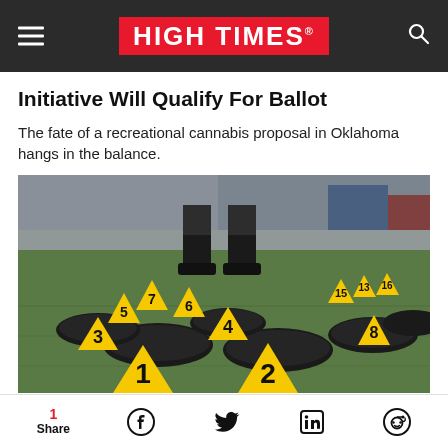HIGH TIMES
Initiative Will Qualify For Ballot
The fate of a recreational cannabis proposal in Oklahoma hangs in the balance.
[Figure (photo): Crime scene evidence markers (numbered 1-16) placed next to black plastic-wrapped packages on a green surface, with a person in military/police boots standing in the background.]
1 Share | Facebook | Twitter | LinkedIn | Reddit